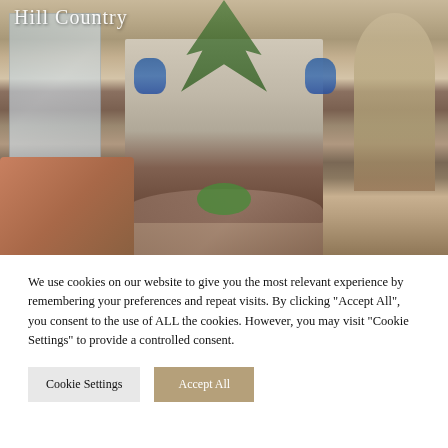[Figure (photo): Interior photo of a luxurious Hill Country style living room with high ceilings, stone fireplace, blue decorative vases, large indoor plants, wood floors, leather and upholstered furniture, arched doorway to the right, and large windows on the left. Text overlay reading 'Hill Country' appears in the upper left.]
We use cookies on our website to give you the most relevant experience by remembering your preferences and repeat visits. By clicking "Accept All", you consent to the use of ALL the cookies. However, you may visit "Cookie Settings" to provide a controlled consent.